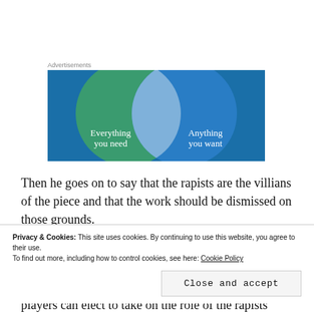Advertisements
[Figure (illustration): Venn diagram advertisement showing two overlapping circles on a blue-green gradient background. Left circle (green) labeled 'Everything you need', right circle (blue) labeled 'Anything you want', with a light overlap region in the center.]
Then he goes on to say that the rapists are the villians of the piece and that the work should be dismissed on those grounds.
Privacy & Cookies: This site uses cookies. By continuing to use this website, you agree to their use.
To find out more, including how to control cookies, see here: Cookie Policy
Close and accept
players can elect to take on the role of the rapists